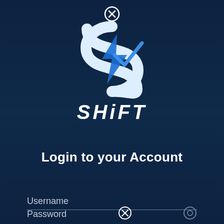[Figure (logo): SHiFT app logo with stylized S shape in white and blue lightning bolt, close button circle at top]
SHiFT
Login to your Account
Username
Password